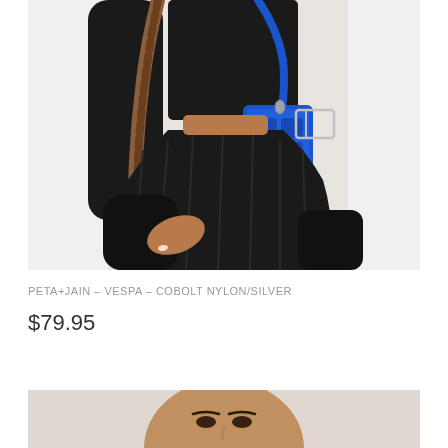[Figure (photo): Fashion model crouching, wearing black pleated mini skirt, long-sleeve black top, black leather boots, and carrying a bright cobalt blue nylon crossbody bag with silver hardware. Model has long braided hair.]
PETA+JAIN – VESPA – COBOLT NYLON/SILVER
$79.95
[Figure (photo): Partial view of another fashion model, cropped at top of frame showing face and upper body against light background.]